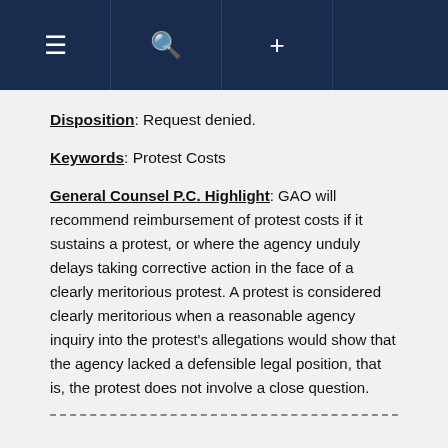≡ 🔍 +
Disposition: Request denied.
Keywords: Protest Costs
General Counsel P.C. Highlight: GAO will recommend reimbursement of protest costs if it sustains a protest, or where the agency unduly delays taking corrective action in the face of a clearly meritorious protest. A protest is considered clearly meritorious when a reasonable agency inquiry into the protest's allegations would show that the agency lacked a defensible legal position, that is, the protest does not involve a close question.